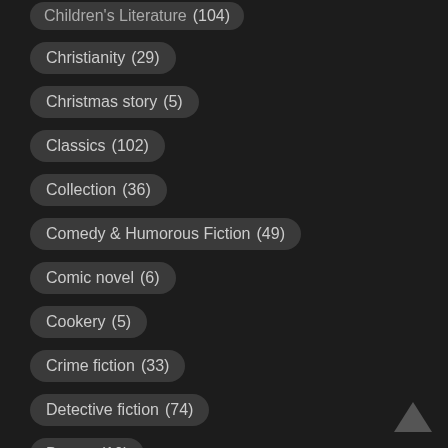Children's Literature (104)
Christianity (29)
Christmas story (5)
Classics (102)
Collection (36)
Comedy & Humorous Fiction (49)
Comic novel (6)
Cookery (5)
Crime fiction (33)
Detective fiction (74)
Drama (10)
Educational (6)